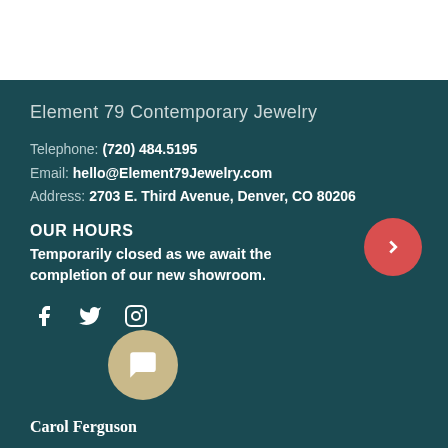Element 79 Contemporary Jewelry
Telephone: (720) 484.5195
Email: hello@Element79Jewelry.com
Address: 2703 E. Third Avenue, Denver, CO 80206
OUR HOURS
Temporarily closed as we await the completion of our new showroom.
[Figure (other): Social media icons: Facebook, Twitter, Instagram]
[Figure (other): Chat bubble button with message icon representing Carol Ferguson agent]
Carol Ferguson